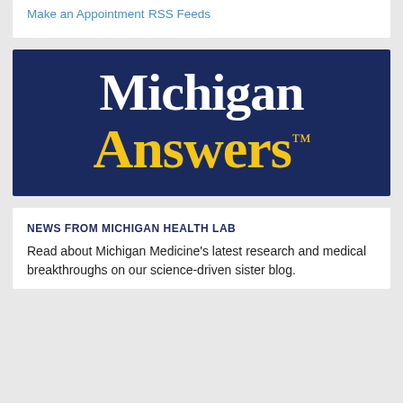Make an Appointment
RSS Feeds
[Figure (logo): Michigan Answers logo — dark navy blue background with 'Michigan' in white serif bold text and 'Answers' in yellow/gold serif bold text with TM symbol]
NEWS FROM MICHIGAN HEALTH LAB
Read about Michigan Medicine's latest research and medical breakthroughs on our science-driven sister blog.